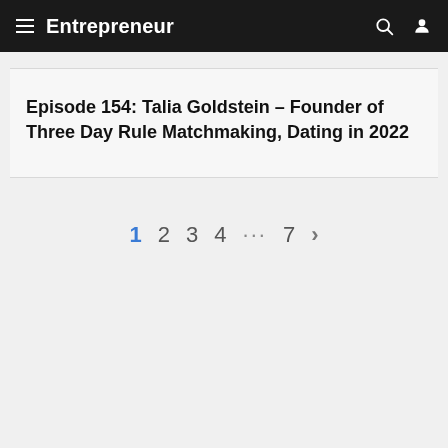Entrepreneur
Episode 154: Talia Goldstein – Founder of Three Day Rule Matchmaking, Dating in 2022
1 2 3 4 … 7 >